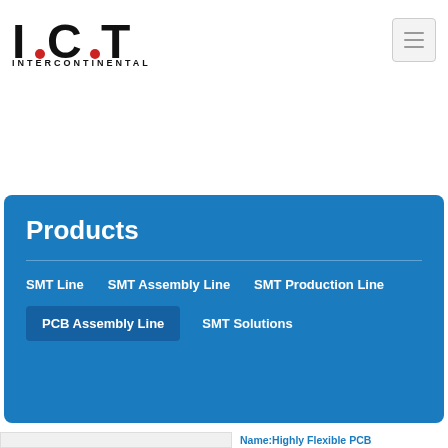[Figure (logo): I.C.T Intercontinental logo with stylized text and red dots]
Products
SMT Line
SMT Assembly Line
SMT Production Line
PCB Assembly Line
SMT Solutions
Name: Highly Flexible PCB